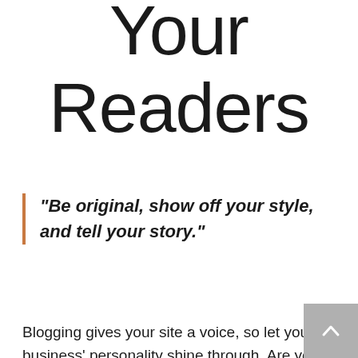Your Readers
“Be original, show off your style, and tell your story.”
Blogging gives your site a voice, so let your business’ personality shine through. Are you a creative agency? Go wild with original blog posts about recent projects, cool inspirational ideas, or what your company culture is like. Add images, and videos to really spice it up, and pepper it with slang to keep